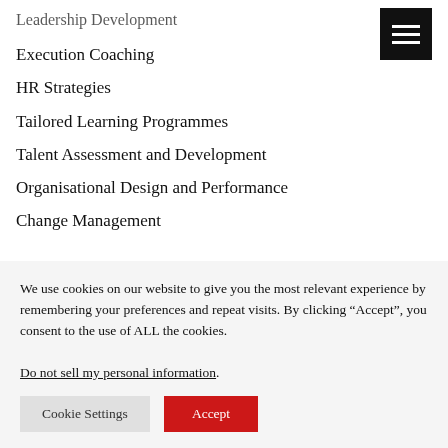Leadership Development
Execution Coaching
HR Strategies
Tailored Learning Programmes
Talent Assessment and Development
Organisational Design and Performance
Change Management
Executive Choice
Executive and Senior Management Recruitment
We use cookies on our website to give you the most relevant experience by remembering your preferences and repeat visits. By clicking “Accept”, you consent to the use of ALL the cookies.
Do not sell my personal information.
Cookie Settings  Accept